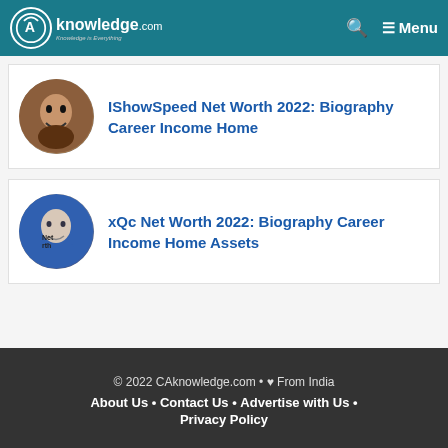CAknowledge.com — Knowledge is Everything | Menu
IShowSpeed Net Worth 2022: Biography Career Income Home
xQc Net Worth 2022: Biography Career Income Home Assets
© 2022 CAknowledge.com • ♥ From India
About Us • Contact Us • Advertise with Us •
Privacy Policy